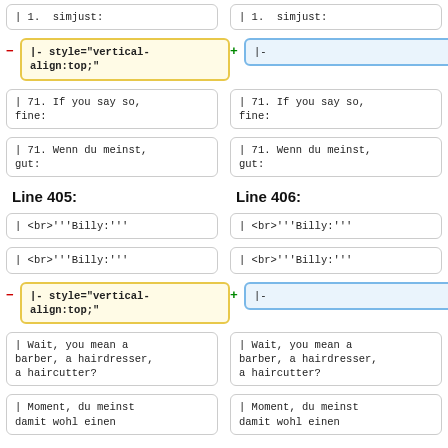| 1.  simjust:
|- style="vertical-align:top;"
|-
| 71. If you say so, fine:
| 71. If you say so, fine:
| 71. Wenn du meinst, gut:
| 71. Wenn du meinst, gut:
Line 405:
Line 406:
| <br>'''Billy:'''
| <br>'''Billy:'''
| <br>'''Billy:'''
| <br>'''Billy:'''
|- style="vertical-align:top;"
|-
| Wait, you mean a barber, a hairdresser, a haircutter?
| Wait, you mean a barber, a hairdresser, a haircutter?
| Moment, du meinst damit wohl einen
| Moment, du meinst damit wohl einen